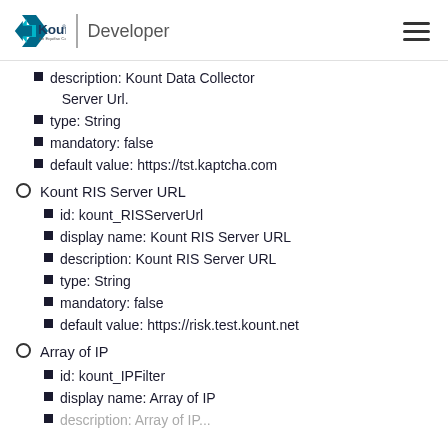Kount | Developer
description: Kount Data Collector Server Url.
type: String
mandatory: false
default value: https://tst.kaptcha.com
Kount RIS Server URL
id: kount_RISServerUrl
display name: Kount RIS Server URL
description: Kount RIS Server URL
type: String
mandatory: false
default value: https://risk.test.kount.net
Array of IP
id: kount_IPFilter
display name: Array of IP
description: Array of IP (truncated)